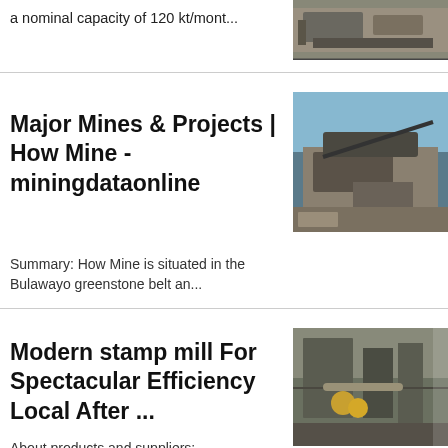a nominal capacity of 120 kt/mont...
[Figure (photo): Industrial mining equipment photo at top]
Major Mines & Projects | How Mine - miningdataonline
[Figure (photo): Mining machinery/conveyor at a mine site under blue sky]
Summary: How Mine is situated in the Bulawayo greenstone belt an...
Modern stamp mill For Spectacular Efficiency Local After ...
[Figure (photo): Industrial stamp mill facility with pipes and workers in yellow]
About products and suppliers: